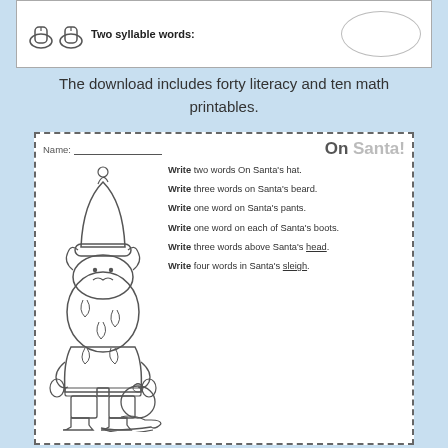[Figure (illustration): Top strip of a worksheet showing shoe clip art icons and a label 'Two syllable words:' with an empty oval bubble]
The download includes forty literacy and ten math printables.
[Figure (illustration): A worksheet card titled 'On Santa!' with a coloring-page style Santa Claus illustration and writing instructions for placing words on different parts of Santa (hat, beard, pants, boots, above head, sleigh).]
Write two words On Santa's hat.
Write three words on Santa's beard.
Write one word on Santa's pants.
Write one word on each of Santa's boots.
Write three words above Santa's head.
Write four words in Santa's sleigh.